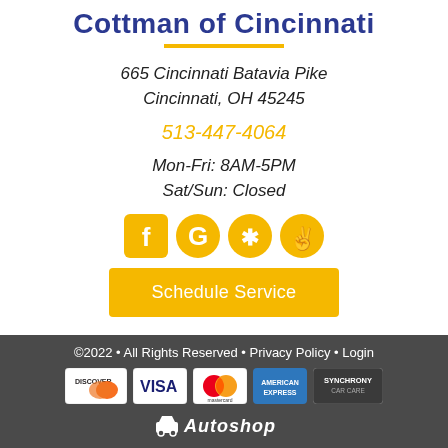Cottman of Cincinnati
665 Cincinnati Batavia Pike
Cincinnati, OH 45245
513-447-4064
Mon-Fri: 8AM-5PM
Sat/Sun: Closed
[Figure (infographic): Social media icons: Facebook (yellow rounded square), Google (yellow circle with G), Yelp (yellow burst with asterisk), Nextdoor (yellow circle with peace/check icon)]
Schedule Service
©2022 • All Rights Reserved • Privacy Policy • Login
[Figure (infographic): Payment card logos: Discover, Visa, Mastercard, American Express, Synchrony Car Care]
[Figure (logo): Autoshop logo at bottom footer]